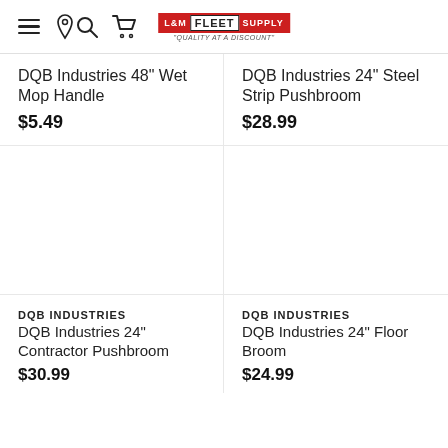L&M Fleet Supply — Quality at a Discount
DQB Industries 48" Wet Mop Handle
$5.49
DQB Industries 24" Steel Strip Pushbroom
$28.99
DQB INDUSTRIES
DQB Industries 24" Contractor Pushbroom
$30.99
DQB INDUSTRIES
DQB Industries 24" Floor Broom
$24.99